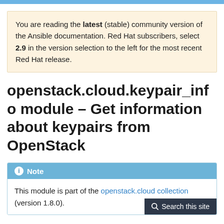You are reading the latest (stable) community version of the Ansible documentation. Red Hat subscribers, select 2.9 in the version selection to the left for the most recent Red Hat release.
openstack.cloud.keypair_info module – Get information about keypairs from OpenStack
Note
This module is part of the openstack.cloud collection (version 1.8.0).